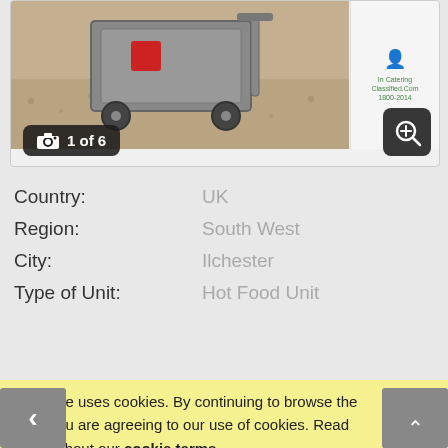[Figure (photo): Photo of a catering/food cart equipment on gravel surface, with a small thumbnail logo image in top right corner. Camera icon badge showing '1 of 6' and a zoom button.]
Country:
Region:
City:
Type of Unit:
UK
South West
Ilchester
Hot Food Unit
This site uses cookies. By continuing to browse the site, you are agreeing to our use of cookies. Read more about our cookie terms.